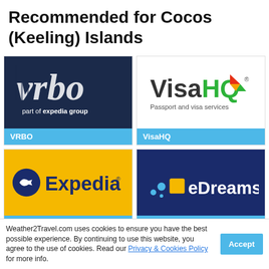Recommended for Cocos (Keeling) Islands
[Figure (logo): VRBO logo on dark navy background with text 'part of expedia group']
[Figure (logo): VisaHQ logo with 'Passport and visa services' tagline]
[Figure (logo): Expedia logo on yellow background]
[Figure (logo): eDreams logo on dark blue background]
Weather2Travel.com uses cookies to ensure you have the best possible experience. By continuing to use this website, you agree to the use of cookies. Read our Privacy & Cookies Policy for more info.